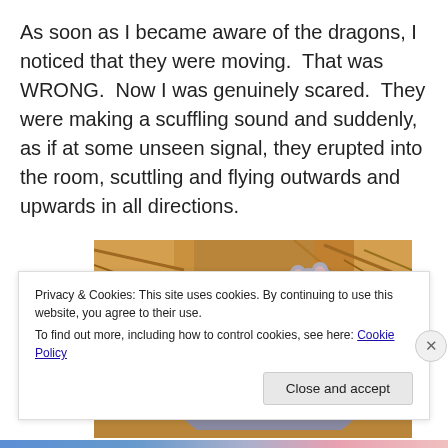As soon as I became aware of the dragons, I noticed that they were moving.  That was WRONG.  Now I was genuinely scared.  They were making a scuffling sound and suddenly, as if at some unseen signal, they erupted into the room, scuttling and flying outwards and upwards in all directions.
[Figure (photo): Close-up photo of two small grey mice/rats nestled together in what appears to be a wooden or straw nest.]
Privacy & Cookies: This site uses cookies. By continuing to use this website, you agree to their use.
To find out more, including how to control cookies, see here: Cookie Policy